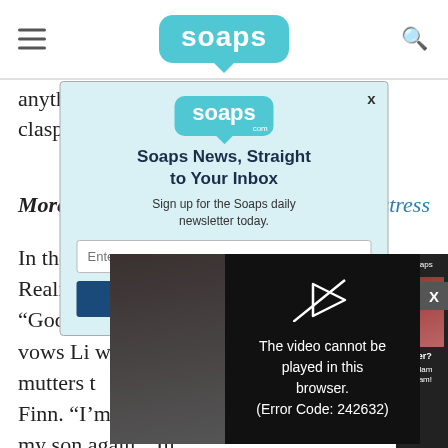soaps (logo header with hamburger menu and search icon)
anything in his power to protect her. They clasp hands as he goes.
More: How [...]th stress
In the pou[...] anic. Realizing S[...] reams, “Godamm[...] vows Li wo[...] mutters t[...] Finn. “I’m r[...] my son again.” In[...] “Back off you cra[...]
[Figure (screenshot): Modal popup for Soaps.com newsletter signup with email input field and subscribe button, overlaid on article content. Also shows a video player overlay with error message: The video cannot be played in this browser. (Error Code: 242632)]